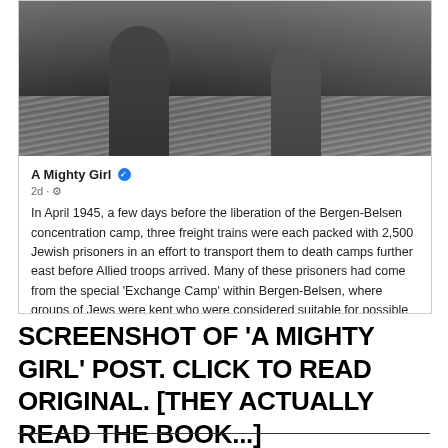[Figure (screenshot): Screenshot of a Facebook post by 'A Mighty Girl' (verified page), showing a black-and-white historical photograph of people standing in a field, with a social media post text about the Bergen-Belsen concentration camp in April 1945.]
SCREENSHOT OF 'A MIGHTY GIRL' POST. CLICK TO READ ORIGINAL. [THEY ACTUALLY READ THE BOOK...]